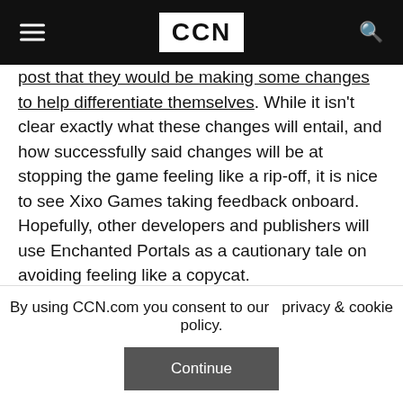CCN
post that they would be making some changes to help differentiate themselves. While it isn't clear exactly what these changes will entail, and how successfully said changes will be at stopping the game feeling like a rip-off, it is nice to see Xixo Games taking feedback onboard. Hopefully, other developers and publishers will use Enchanted Portals as a cautionary tale on avoiding feeling like a copycat.
Last modified: September 22, 2020 1:14 PM
By using CCN.com you consent to our privacy & cookie policy.
Continue